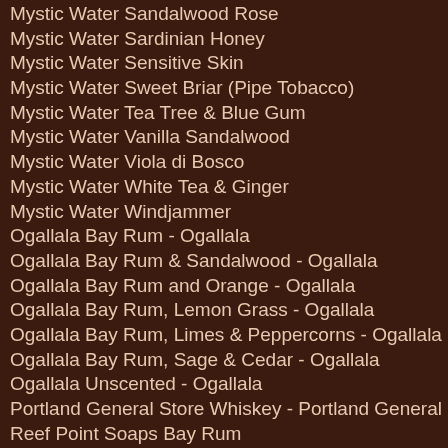Mystic Water Sandalwood Rose
Mystic Water Sardinian Honey
Mystic Water Sensitive Skin
Mystic Water Sweet Briar (Pipe Tobacco)
Mystic Water Tea Tree & Blue Gum
Mystic Water Vanilla Sandalwood
Mystic Water Viola di Bosco
Mystic Water White Tea & Ginger
Mystic Water Windjammer
Ogallala Bay Rum - Ogallala
Ogallala Bay Rum & Sandalwood - Ogallala
Ogallala Bay Rum and Orange - Ogallala
Ogallala Bay Rum, Lemon Grass - Ogallala
Ogallala Bay Rum, Limes & Peppercorns - Ogallala
Ogallala Bay Rum, Sage & Cedar - Ogallala
Ogallala Unscented - Ogallala
Portland General Store Whiskey - Portland General Store
Reef Point Soaps Bay Rum
Reef Point Soaps Classic Barbershop
Reef Point Soaps Dragon's Blood
Reef Point Soaps Earl Grey & Ginger
Reef Point Soaps Espresso